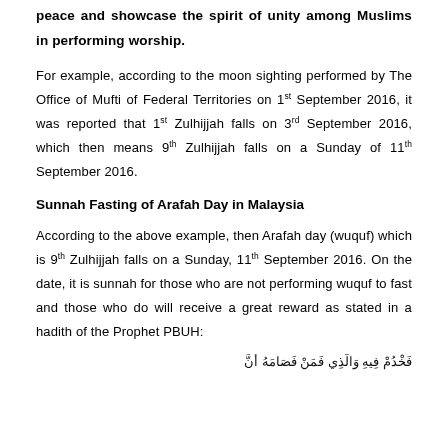peace and showcase the spirit of unity among Muslims in performing worship.
For example, according to the moon sighting performed by The Office of Mufti of Federal Territories on 1st September 2016, it was reported that 1st Zulhijjah falls on 3rd September 2016, which then means 9th Zulhijjah falls on a Sunday of 11th September 2016.
Sunnah Fasting of Arafah Day in Malaysia
According to the above example, then Arafah day (wuquf) which is 9th Zulhijjah falls on a Sunday, 11th September 2016. On the date, it is sunnah for those who are not performing wuquf to fast and those who do will receive a great reward as stated in a hadith of the Prophet PBUH:
[Arabic text line]